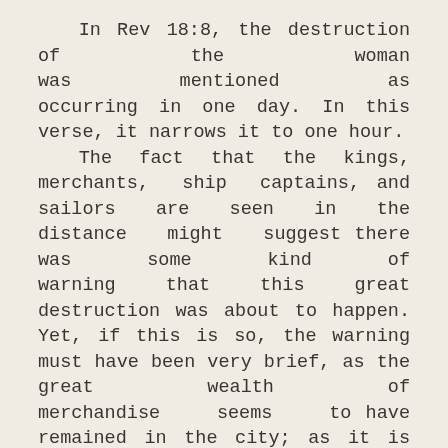In Rev 18:8, the destruction of the woman was mentioned as occurring in one day. In this verse, it narrows it to one hour.
    The fact that the kings, merchants, ship captains, and sailors are seen in the distance might suggest there was some kind of warning that this great destruction was about to happen. Yet, if this is so, the warning must have been very brief, as the great wealth of merchandise seems to have remained in the city; as it is written, in v.11-NO MAN BUYETH THEIR MERCHANDISE (or cargoes) ANY MORE. Also, it is written, IN ONE HOUR SO GREAT RICHES IS